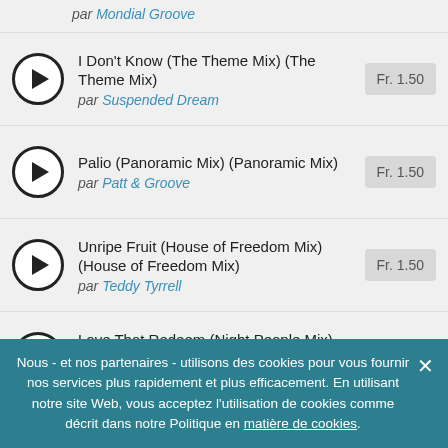par Mondial Groove
I Don't Know (The Theme Mix) (The Theme Mix) par Suspended Dream — Fr. 1.50
Palio (Panoramic Mix) (Panoramic Mix) par Patt & Groove — Fr. 1.50
Unripe Fruit (House of Freedom Mix) (House of Freedom Mix) par Teddy Tyrrell — Fr. 1.50
Love That Redeem (Night People Mix) (Night People Mix) par Plastic Beats — Fr. 1.50
Nous - et nos partenaires - utilisons des cookies pour vous fournir nos services plus rapidement et plus efficacement. En utilisant notre site Web, vous acceptez l'utilisation de cookies comme décrit dans notre Politique en matière de cookies.